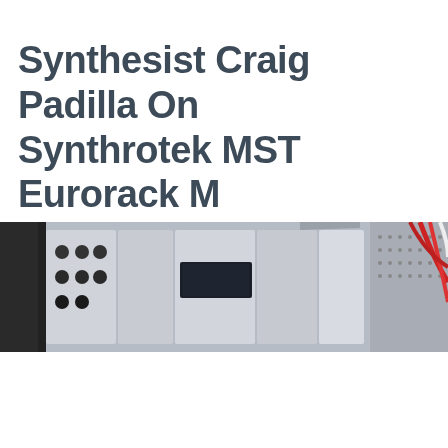Synthesist Craig Padilla On Synthrotek MST Eurorack Modular Synthesizer
[Figure (photo): Photograph of a Eurorack modular synthesizer with multiple modules, knobs, patch cables (red/white), and metal rack panels, cropped at the right side.]